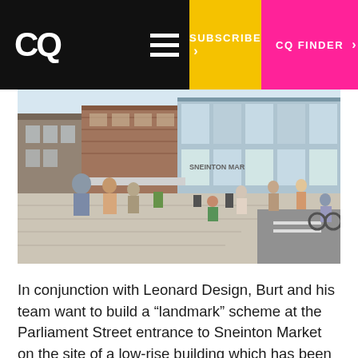CQ | SUBSCRIBE > | CQ FINDER >
[Figure (photo): Street-level rendering of a busy pedestrianised marketplace area with shoppers and cyclists, showing the Sneinton Market area with brick and glass commercial buildings in the background.]
In conjunction with Leonard Design, Burt and his team want to build a “landmark” scheme at the Parliament Street entrance to Sneinton Market on the site of a low-rise building which has been derelict for a decade. The four or five storey development will include 176 student beds, exhibition space and a 3,000 sq ft bar and restaurant area.